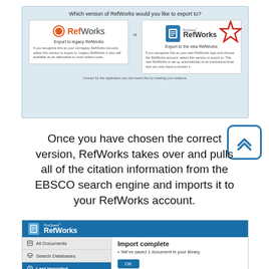[Figure (screenshot): RefWorks export version selection dialog showing two options: 'Export to legacy RefWorks' and 'Export to the new RefWorks' (ProQuest RefWorks) with a red star decoration, on a light blue background.]
Once you have chosen the correct version, RefWorks takes over and pulls all of the citation information from the EBSCO search engine and imports it to your RefWorks account.
[Figure (screenshot): ProQuest RefWorks interface showing the navigation sidebar with All Documents, Search Databases, Last Imported (highlighted), and a content area showing 'Import complete' with bullet 'We've saved 1 document in your library.' and an OK button.]